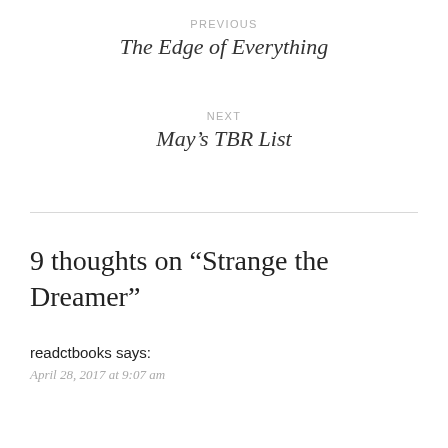PREVIOUS
The Edge of Everything
NEXT
May's TBR List
9 thoughts on “Strange the Dreamer”
readctbooks says:
April 28, 2017 at 9:07 am